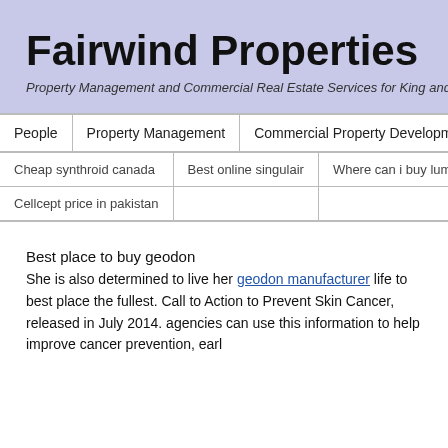Fairwind Properties
Property Management and Commercial Real Estate Services for King and Kitsap Co
| People | Property Management | Commercial Property Development | B |
| --- | --- | --- | --- |
| Cheap synthroid canada | Best online singulair | Where can i buy lumigan o |
| --- | --- | --- |
| Cellcept price in pakistan |  |  |
Best place to buy geodon
She is also determined to live her geodon manufacturer life to best place the fullest. Call to Action to Prevent Skin Cancer, released in July 2014. agencies can use this information to help improve cancer prevention, earl